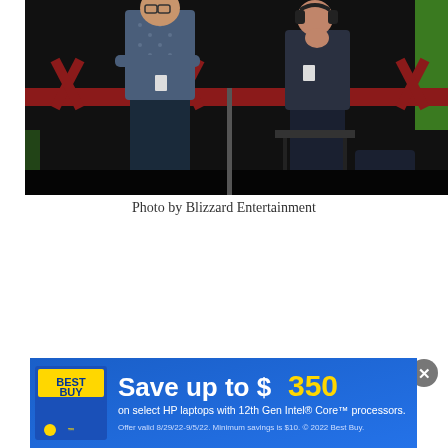[Figure (photo): Dark event stage photo showing people seated and standing behind a red railing structure with hexagonal/angular design. People wearing name badges visible in a dimly lit venue with green accent lighting in background.]
Photo by Blizzard Entertainment
[Figure (infographic): Best Buy advertisement banner. Blue background with Best Buy logo on left. Text reads: Save up to $350 on select HP laptops with 12th Gen Intel® Core™ processors. Offer valid 8/29/22-9/5/22. Minimum savings is $10. © 2022 Best Buy. With a close/dismiss button (X) in the top-right corner of the ad.]